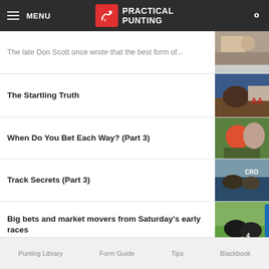MENU | PRACTICAL PUNTING
The late Don Scott once wrote that the best form of...
The Startling Truth
When Do You Bet Each Way? (Part 3)
Track Secrets (Part 3)
Big bets and market movers from Saturday's early races
Par for the Course
Punting Library | Form Guide | Tips | Blackbook